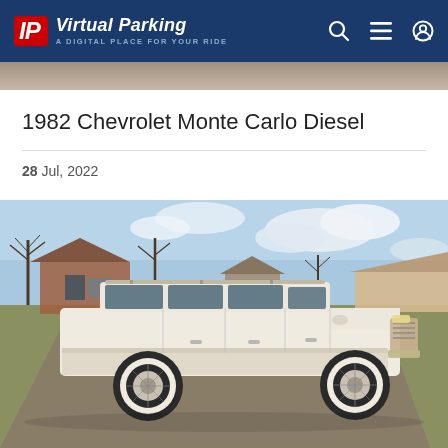Virtual Parking — A DIGITAL PLACE FOR YOUR RIDE
[Figure (photo): Partial top crop of a photo visible behind the listing header, showing a concrete or gravel surface.]
1982 Chevrolet Monte Carlo Diesel
28 Jul, 2022
[Figure (photo): Photograph of a white 1982 Chevrolet station wagon (Monte Carlo Diesel) parked on a driveway in front of residential buildings with bare trees and a partly cloudy sky.]